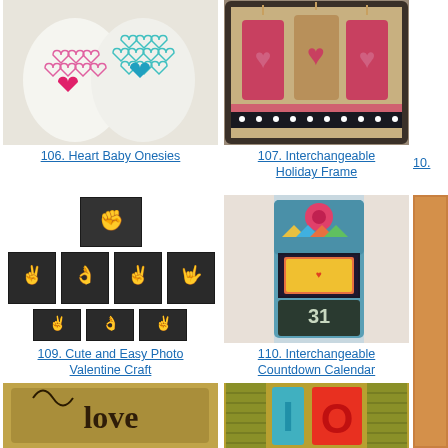[Figure (photo): Two white baby onesies with embroidered heart outlines and one filled pink/teal heart each]
106. Heart Baby Onesies
[Figure (photo): A decorative framed display with three fabric hearts on a burlap background with polka dot ribbon]
107. Interchangeable Holiday Frame
10.
[Figure (photo): Black and white collage of hand sign language photos spelling LOVE]
109. Cute and Easy Photo Valentine Craft
[Figure (photo): A blue interchangeable countdown calendar with chalkboard panel showing 31, decorated with colorful flower and bunting]
110. Interchangeable Countdown Calendar
1.
[Figure (photo): Burlap-covered frame letters spelling 'love' with decorative wire curls]
[Figure (photo): Colorful letters I O on a shuttered background in teal and red]
[Figure (photo): Partial view of a right-edge item]